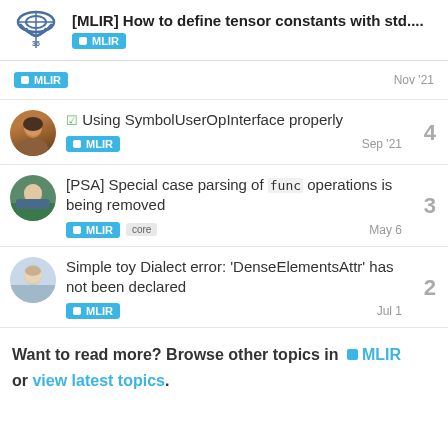[MLIR] How to define tensor constants with std.... MLIR
MLIR  Nov '21
☑ Using SymbolUserOpInterface properly
MLIR  Sep '21
4
[PSA] Special case parsing of `func` operations is being removed
MLIR  core  May 6
3
Simple toy Dialect error: 'DenseElementsAttr' has not been declared
MLIR  Jul 1
2
Want to read more? Browse other topics in ■ MLIR or view latest topics.